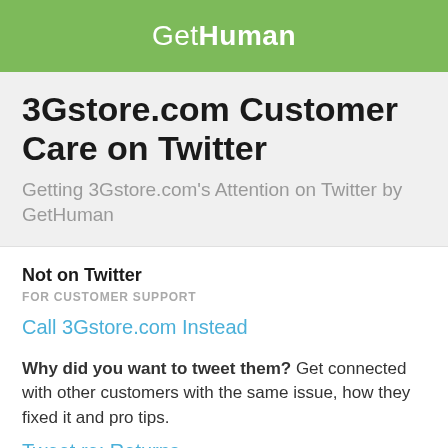GetHuman
3Gstore.com Customer Care on Twitter
Getting 3Gstore.com's Attention on Twitter by GetHuman
Not on Twitter
FOR CUSTOMER SUPPORT
Call 3Gstore.com Instead
Why did you want to tweet them? Get connected with other customers with the same issue, how they fixed it and pro tips.
Tweet re: Returns